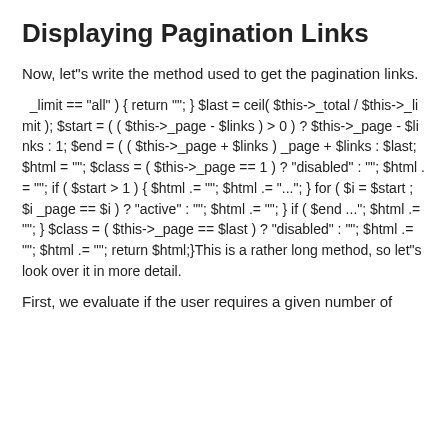Displaying Pagination Links
Now, let"s write the method used to get the pagination links.
_limit == "all" ) { return ""; } $last = ceil( $this->_total / $this->_limit ); $start = ( ( $this->_page - $links ) > 0 ) ? $this->_page - $links : 1; $end = ( ( $this->_page + $links ) _page + $links : $last; $html = ""; $class = ( $this->_page == 1 ) ? "disabled" : ""; $html .= ""; if ( $start > 1 ) { $html .= ""; $html .= "..."; } for ( $i = $start ; $i _page == $i ) ? "active" : ""; $html .= ""; } if ( $end ..."; $html .= ""; } $class = ( $this->_page == $last ) ? "disabled" : ""; $html .= ""; $html .= ""; return $html;}This is a rather long method, so let"s look over it in more detail.
First, we evaluate if the user requires a given number of